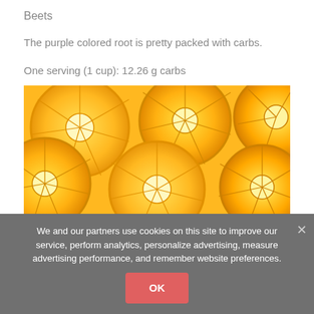Beets
The purple colored root is pretty packed with carbs.
One serving (1 cup): 12.26 g carbs
[Figure (photo): Photo of multiple sliced oranges/citrus fruits showing their cross-sections with yellow-orange flesh, filling the entire frame]
We and our partners use cookies on this site to improve our service, perform analytics, personalize advertising, measure advertising performance, and remember website preferences.